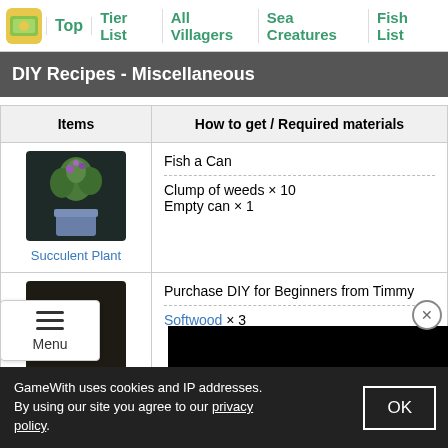Top | Tier List | All Villagers | Sea Creatures | Fish List
DIY Recipes - Miscellaneous
| Items | How to get / Required materials |
| --- | --- |
| Succulent Plant | Fish a Can
Clump of weeds × 10
Empty can × 1 |
| Wooden-block toy | Purchase DIY for Beginners from Timmy
Softwood × 3 |
| Old-fashioned | Purchase DIY
Softwood × 3 |
GameWith uses cookies and IP addresses. By using our site you agree to our privacy policy.